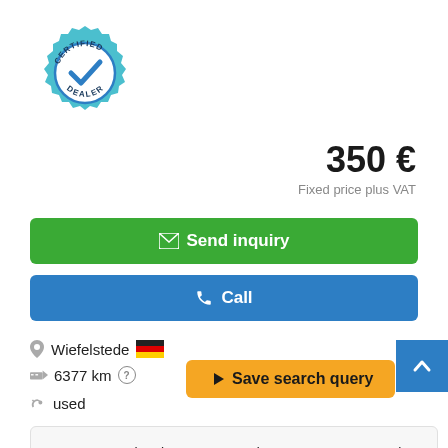[Figure (logo): Certified Dealer badge/seal in teal and white with gear shape and checkmark]
350 €
Fixed price plus VAT
✉ Send inquiry
✆ Call
Wiefelstede 🇩🇪
6377 km ?
used
Gear motor, electric motor -Speed: 87 rpm -Power: 0.37 kW -Construction: B5 -Diameter shaft: Ø 25 mm -Protection...number: 1x available Cbknamlg -Dimensions: 475/175/H180 mm -Weight: 20 kg
◄ Save search query